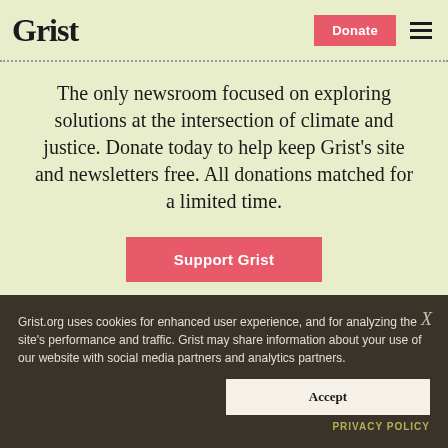Grist
The only newsroom focused on exploring solutions at the intersection of climate and justice. Donate today to help keep Grist's site and newsletters free. All donations matched for a limited time.
Support Grist
Grist.org uses cookies for enhanced user experience, and for analyzing the site's performance and traffic. Grist may share information about your use of our website with social media partners and analytics partners.
Accept
PRIVACY POLICY